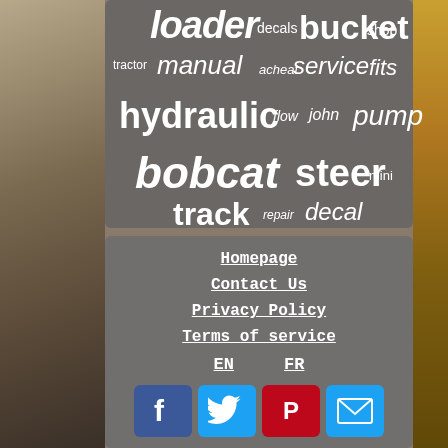[Figure (infographic): Word cloud / tag cloud with equipment-related terms: loader, decals, bucket, shop, tractor, manual, acheat, service, fits, hydraulic, flow, john, pump, bobcat, steer, mini, track, repair, decal]
Homepage
Contact Us
Privacy Policy
Terms of service
EN   FR